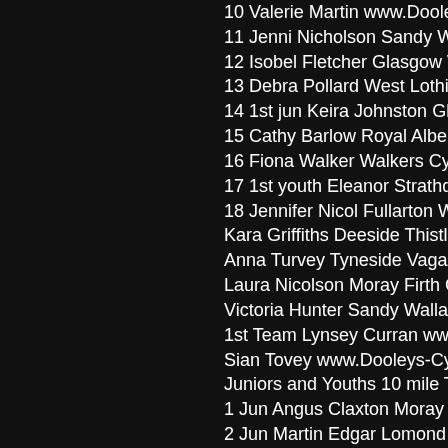10 Valerie Martin www.Dooleys-Cy...
11 Jenni Nicholson Sandy Wallace...
12 Isobel Fletcher Glasgow Whls 2...
13 Debra Pollard West Lothian Cla...
14 1st jun Keira Johnston Glasgow...
15 Cathy Barlow Royal Albert CC 2...
16 Fiona Walker Walkers Cycling C...
17 1st youth Eleanor Strathdee Ed...
18 Jennifer Nicol Fullarton Wheele...
Kara Griffiths Deeside Thistle CC D...
Anna Turvey Tyneside Vagabonds...
Laura Nicolson Moray Firth Cycling...
Victoria Hunter Sandy Wallace Cyc...
1st Team Lynsey Curran www.Doo...
Sian Tovey www.Dooleys-Cycles.c...
Juniors and Youths 10 mile TT
1 Jun Angus Claxton Moray Firth C...
2 Jun Martin Edgar Lomond Roads...
3 Jun Stuart Paterson Glasgow Co...
4 Jun Craig Forsyth Gala Cycling C...
5 Jun Gavin Laffoley Fife Century R...
Jun Neil Fleming East Sutherland W...
1 Youth Stuart Turvey Sandy Walla...
2 Youth Michael Bibby Aberdeen W...